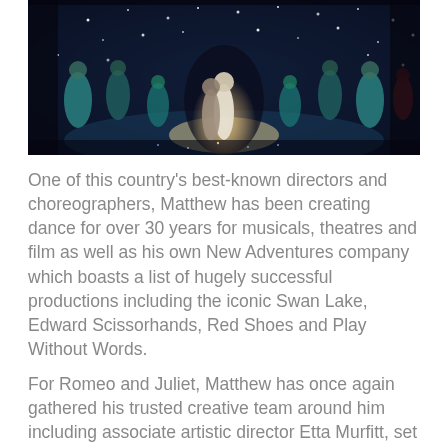[Figure (photo): A theatrical stage performance showing dancers in colorful costumes illuminated by twinkling lights. Two central figures stand in a spotlight while others dance around them on a glittering floor.]
One of this country's best-known directors and choreographers, Matthew has been creating dance for over 30 years for musicals, theatres and film as well as his own New Adventures company which boasts a list of hugely successful productions including the iconic Swan Lake, Edward Scissorhands, Red Shoes and Play Without Words.
For Romeo and Juliet, Matthew has once again gathered his trusted creative team around him including associate artistic director Etta Murfitt, set and costume